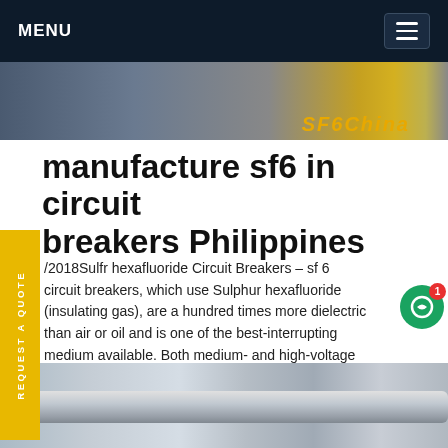MENU
[Figure (photo): Top image strip with orange/gold SF6 text overlay on industrial background]
manufacture sf6 in circuit breakers Philippines
/2018Sulfr hexafluoride Circuit Breakers – sf 6 circuit breakers, which use Sulphur hexafluoride (insulating gas), are a hundred times more dielectric than air or oil and is one of the best-interrupting medium available. Both medium- and high-voltage applications are possible for this type of circuit breaker. Miniature Circuit Breakers – Much like low-age circuitGet price
[Figure (photo): Bottom photo of industrial white pipes/equipment at a facility]